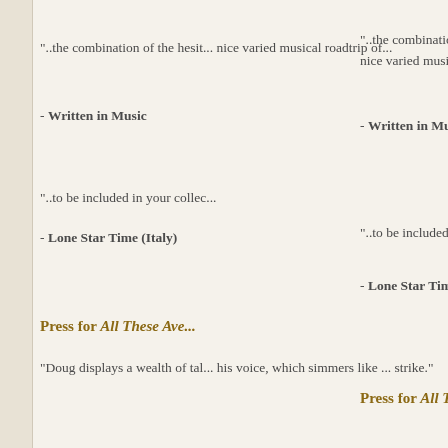"..the combination of the hesit... nice varied musical roadtrip of...
- Written in Music
"..to be included in your collec...
- Lone Star Time (Italy)
Press for All These Ave...
"Doug displays a wealth of tal... his voice, which simmers like ... strike."
"Doug Schmude's latest relea... country with a modern feel. Th... smooth voice like a glove."
- Americana UK